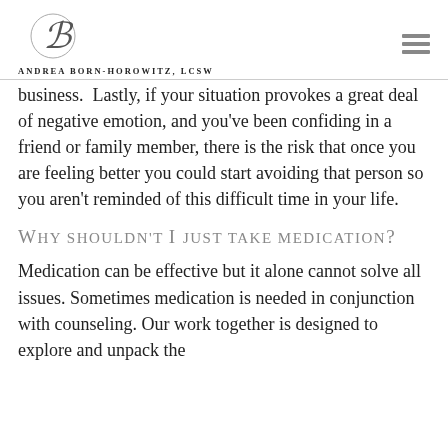Andrea Born-Horowitz, LCSW
business.  Lastly, if your situation provokes a great deal of negative emotion, and you've been confiding in a friend or family member, there is the risk that once you are feeling better you could start avoiding that person so you aren't reminded of this difficult time in your life.
Why shouldn't I just take medication?
Medication can be effective but it alone cannot solve all issues. Sometimes medication is needed in conjunction with counseling. Our work together is designed to explore and unpack the